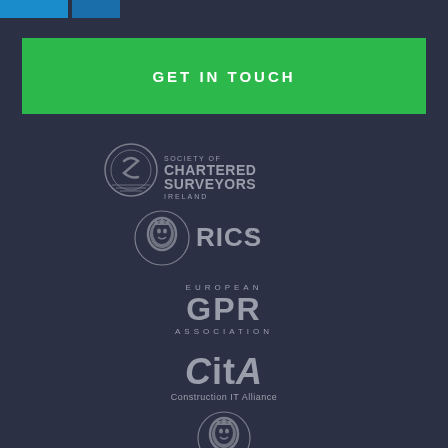GET IN TOUCH
[Figure (logo): Society of Chartered Surveyors Ireland logo - grey circular emblem with lion and text]
[Figure (logo): RICS logo - lion emblem with RICS text in grey]
[Figure (logo): European GPR Association logo - grey text]
[Figure (logo): CitA Construction IT Alliance logo - grey text]
[Figure (logo): Chartered Institute logo - grey lion emblem, partially visible]